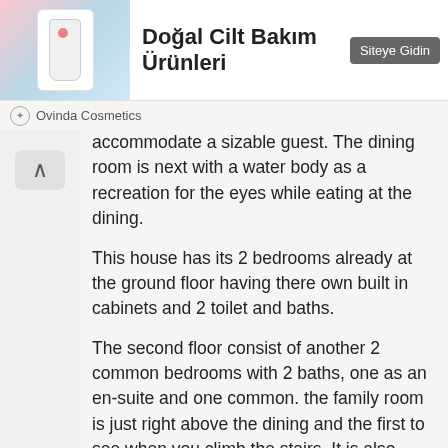[Figure (illustration): Advertisement banner for 'Doğal Cilt Bakım Ürünleri' (Natural Skin Care Products) by Ovinda Cosmetics, with a product image on the left, bold Turkish title in the center, a 'Siteye Gidin' button, and the brand name at the bottom.]
accommodate a sizable guest. The dining room is next with a water body as a recreation for the eyes while eating at the dining.
This house has its 2 bedrooms already at the ground floor having there own built in cabinets and 2 toilet and baths.
The second floor consist of another 2 common bedrooms with 2 baths, one as an en-suite and one common. the family room is just right above the dining and the first to see when you climb the stairs. It is also open to below to take advantage of the water body below as a place to relax. This house design takes into consideration that the master's bedroom is big enough as a place of luxury for the land lord or owner. To its left is the walk-in closets, linen and the master's bath. the open terrace is also provided exclusively for the masters to relax and